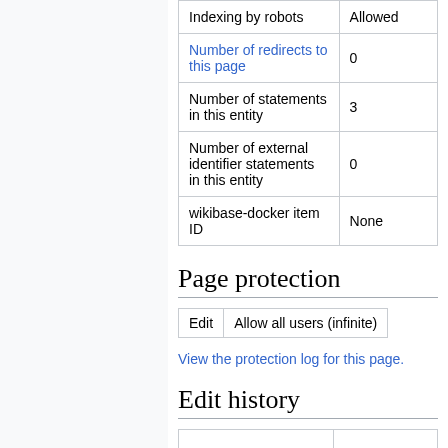|  | Item |
| --- | --- |
| Indexing by robots | Allowed |
| Number of redirects to this page | 0 |
| Number of statements in this entity | 3 |
| Number of external identifier statements in this entity | 0 |
| wikibase-docker item ID | None |
Page protection
| Edit | Allow all users (infinite) |
| --- | --- |
View the protection log for this page.
Edit history